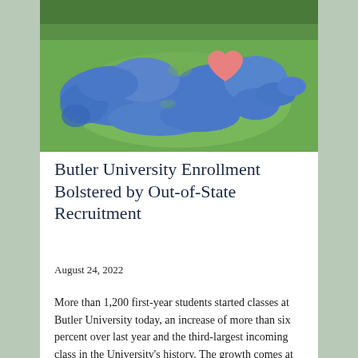[Figure (photo): Aerial view of Butler University students arranged on a green lawn in the shape of a bulldog with a heart made of students in pink/red shirts in the center, most students wearing blue shirts]
Butler University Enrollment Bolstered by Out-of-State Recruitment
August 24, 2022
More than 1,200 first-year students started classes at Butler University today, an increase of more than six percent over last year and the third-largest incoming class in the University's history. The growth comes at a time when many other liberal arts institutions are struggling